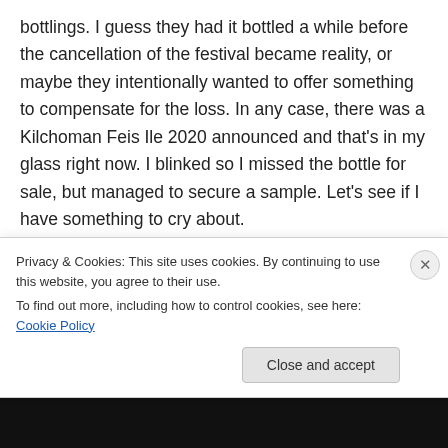bottlings. I guess they had it bottled a while before the cancellation of the festival became reality, or maybe they intentionally wanted to offer something to compensate for the loss. In any case, there was a Kilchoman Feis Ile 2020 announced and that's in my glass right now. I blinked so I missed the bottle for sale, but managed to secure a sample. Let's see if I have something to cry about.
First, let me warm up with the Kilchoman Inaugural Release
Kilcho
Privacy & Cookies: This site uses cookies. By continuing to use this website, you agree to their use.
To find out more, including how to control cookies, see here: Cookie Policy
Close and accept